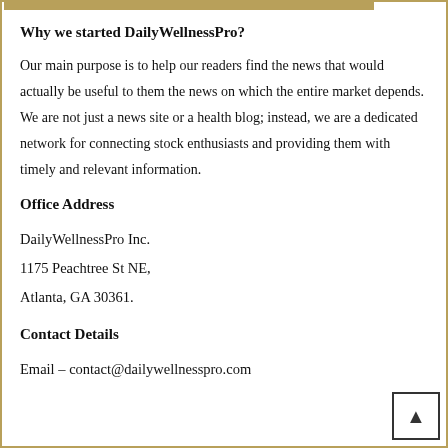Why we started DailyWellnessPro?
Our main purpose is to help our readers find the news that would actually be useful to them the news on which the entire market depends. We are not just a news site or a health blog; instead, we are a dedicated network for connecting stock enthusiasts and providing them with timely and relevant information.
Office Address
DailyWellnessPro Inc.
1175 Peachtree St NE,
Atlanta, GA 30361.
Contact Details
Email – contact@dailywellnesspro.com